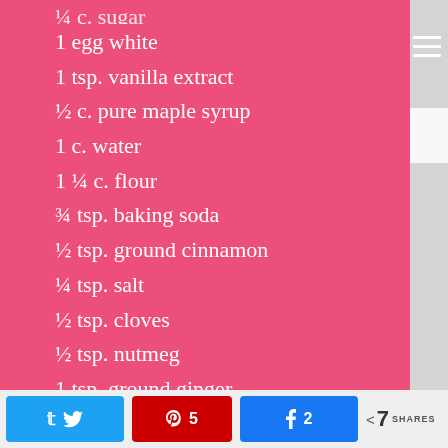½ c. sugar (partial, cropped at top)
1 egg white
1 tsp. vanilla extract
½ c. pure maple syrup
1 c. water
1 ¼ c. flour
¾ tsp. baking soda
½ tsp. ground cinnamon
¼ tsp. salt
½ tsp. cloves
½ tsp. nutmeg
1 tsp. ground ginger
Topping:
Twitter share | Pinterest 5 | Facebook 2 | < 7 SHARES